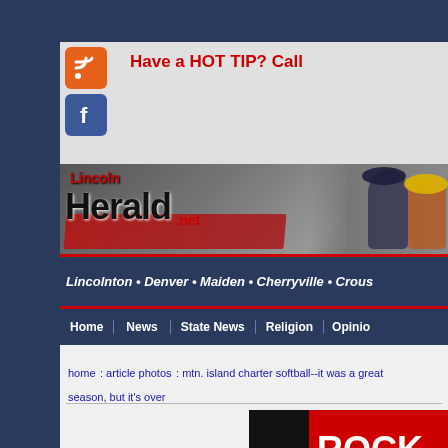[Figure (screenshot): Lincoln Herald newspaper website header screenshot showing RSS and Facebook social icons, 'Have a HOT TIP? Call' text in red, Lincoln Herald .net banner with police officer and firefighter images, navigation bar with Home, News, State News, Religion, Opinion links, cities strip (Lincolnton, Denver, Maiden, Cherryville, Crous...), breadcrumb navigation, and partial bottom advertisement showing 'ROCK']
Have a HOT TIP? Call
home : article photos : mtn. island charter softball--it was a great season, but it's over